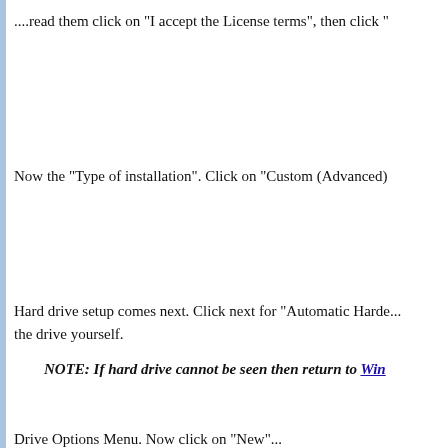....read them click on "I accept the License terms", then click "
Now the "Type of installation". Click on "Custom (Advanced)
Hard drive setup comes next. Click next for "Automatic Harde... the drive yourself.
NOTE: If hard drive cannot be seen then return to Win
Drive Options Menu. Now click on "New"...